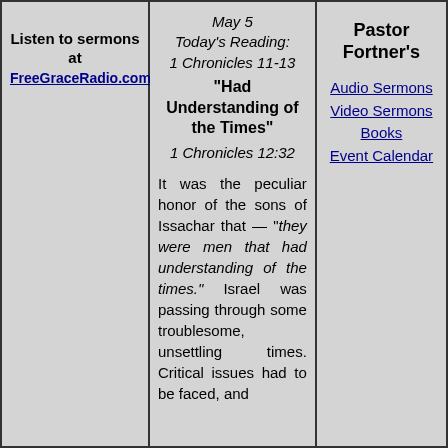Listen to sermons at FreeGraceRadio.com
May 5
Today's Reading: 1 Chronicles 11-13
"Had Understanding of the Times"
1 Chronicles 12:32
It was the peculiar honor of the sons of Issachar that — "they were men that had understanding of the times." Israel was passing through some troublesome, unsettling times. Critical issues had to be faced, and
Pastor Fortner's
Audio Sermons
Video Sermons
Books
Event Calendar